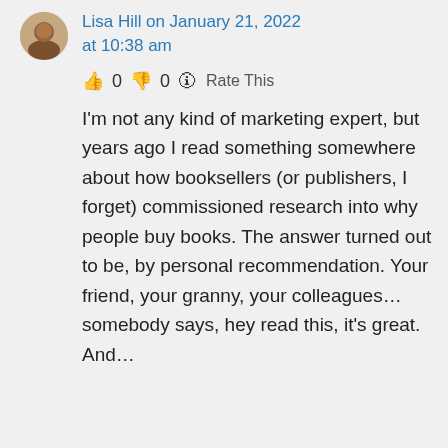Lisa Hill on January 21, 2022 at 10:38 am
👍 0 👎 0 ℹ Rate This
I'm not any kind of marketing expert, but years ago I read something somewhere about how booksellers (or publishers, I forget) commissioned research into why people buy books. The answer turned out to be, by personal recommendation. Your friend, your granny, your colleagues… somebody says, hey read this, it's great. And…